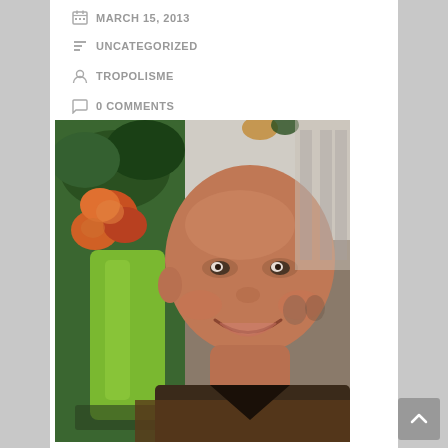MARCH 15, 2013
UNCATEGORIZED
TROPOLISME
0 COMMENTS
[Figure (photo): A smiling bald man seated at a table with a green vase holding orange/red tropical flowers in the foreground, in what appears to be a restaurant or hotel lobby setting.]